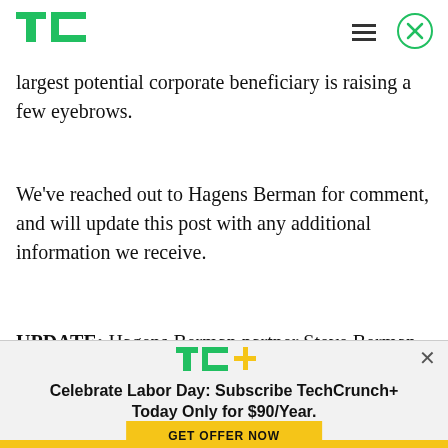TechCrunch header with TC logo, hamburger menu, and close button
largest potential corporate beneficiary is raising a few eyebrows.
We've reached out to Hagens Berman for comment, and will update this post with any additional information we receive.
UPDATE: Hagens Berman partner Steve Berman
[Figure (logo): TechCrunch TC+ logo in green and yellow]
Celebrate Labor Day: Subscribe TechCrunch+ Today Only for $90/Year.
GET OFFER NOW